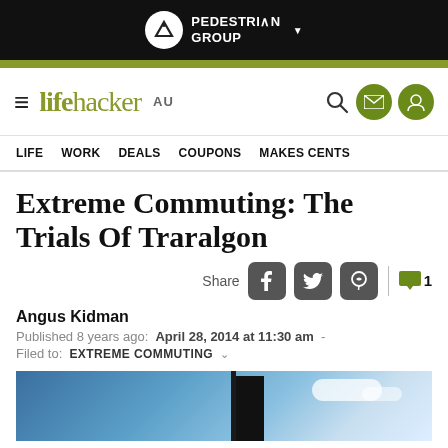[Figure (logo): Pedestrian Group logo with white circle containing mountain/tent icon and white uppercase text 'PEDESTRIAN GROUP' with dropdown arrow, on black background]
lifehacker AU — navigation bar with hamburger menu, search, email, and profile icons
LIFE  WORK  DEALS  COUPONS  MAKES CENTS
Extreme Commuting: The Trials Of Traralgon
Share [Facebook] [Twitter] [Reddit] | 💬 1
Angus Kidman
Published 8 years ago: April 28, 2014 at 11:30 am -
Filed to: EXTREME COMMUTING
[Figure (photo): Partial photo of outdoor scene showing blue sky with clouds and a dark vertical structure/pole]